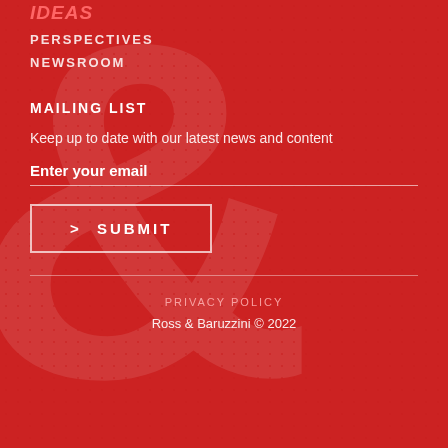IDEAS
PERSPECTIVES
NEWSROOM
MAILING LIST
Keep up to date with our latest news and content
Enter your email
> SUBMIT
PRIVACY POLICY
Ross & Baruzzini © 2022